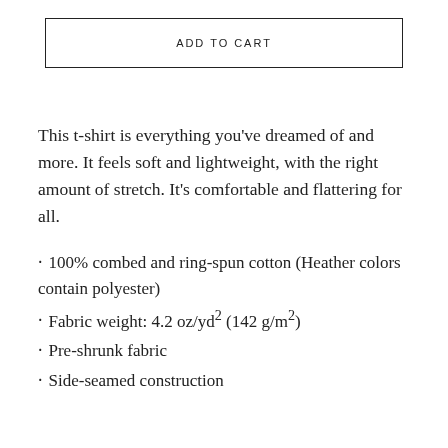ADD TO CART
This t-shirt is everything you've dreamed of and more. It feels soft and lightweight, with the right amount of stretch. It's comfortable and flattering for all.
100% combed and ring-spun cotton (Heather colors contain polyester)
Fabric weight: 4.2 oz/yd² (142 g/m²)
Pre-shrunk fabric
Side-seamed construction